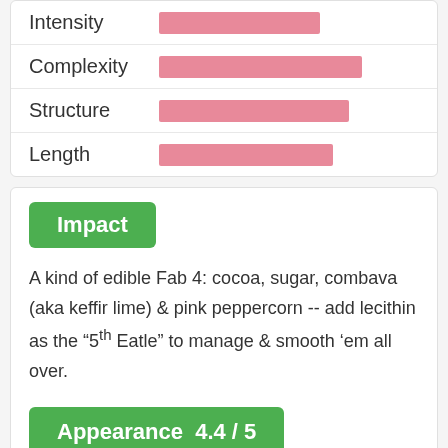[Figure (bar-chart): Wine attributes]
Impact
A kind of edible Fab 4: cocoa, sugar, combava (aka keffir lime) & pink peppercorn -- add lecithin as the "5th Eatle" to manage & smooth 'em all over.
Appearance 4.4 / 5